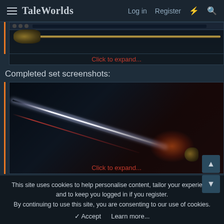TaleWorlds   Log in   Register
[Figure (screenshot): Partial screenshot of a sword/weapon with dark background and orange left border bar, with 'Click to expand...' link]
Click to expand...
Completed set screenshots:
[Figure (screenshot): Dark stylized sword image with white glowing blade and red accent line, golden guard with red glow at bottom right, with 'Click to expand...' overlay text]
Click to expand...
Last edited: Jul 31, 2022
This site uses cookies to help personalise content, tailor your experience and to keep you logged in if you register.
By continuing to use this site, you are consenting to our use of cookies.
✓ Accept   Learn more...